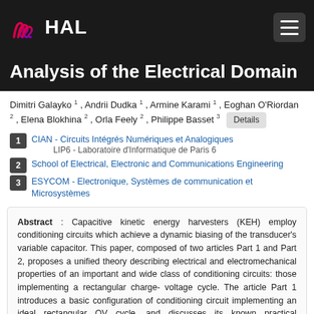HAL
Analysis of the Electrical Domain
Dimitri Galayko 1 , Andrii Dudka 1 , Armine Karami 1 , Eoghan O'Riordan 2 , Elena Blokhina 2 , Orla Feely 2 , Philippe Basset 3 Details
1 CIAN - Circuits Intégrés Numériques et Analogiques
LIP6 - Laboratoire d'Informatique de Paris 6
2 School of Electrical, Electronic and Communications Engineering
3 ESYCOM - Electronique, Systèmes de communication et Microsystèmes
Abstract : Capacitive kinetic energy harvesters (KEH) employ conditioning circuits which achieve a dynamic biasing of the transducer's variable capacitor. This paper, composed of two articles Part 1 and Part 2, proposes a unified theory describing electrical and electromechanical properties of an important and wide class of conditioning circuits: those implementing a rectangular charge- voltage cycle. The article Part 1 introduces a basic configuration of conditioning circuit implementing an ideal rectangular QV cycle, and discusses its known practical implementations: the Roundy charge pump with different flyback mechanisms, and configurations based on the Bennet's doubler. In Part 1, the analysis is done in the electrical domain, without accounting for electromechanical coupling, while in Part 2, the full electromechanical system is analyzed. An optimization approach common to all